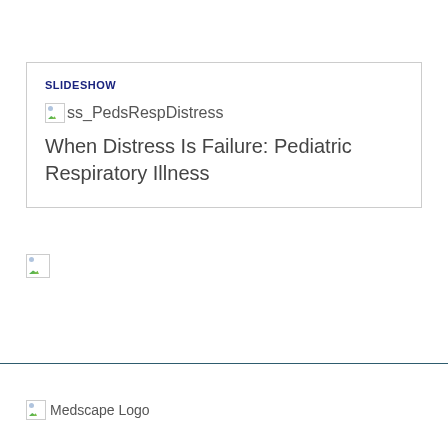SLIDESHOW
[Figure (other): Broken image placeholder for ss_PedsRespDistress slideshow thumbnail]
When Distress Is Failure: Pediatric Respiratory Illness
[Figure (other): Small broken image placeholder]
[Figure (logo): Medscape Logo broken image placeholder]